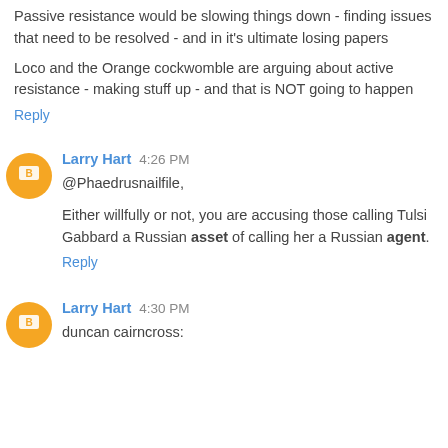Passive resistance would be slowing things down - finding issues that need to be resolved - and in it's ultimate losing papers
Loco and the Orange cockwomble are arguing about active resistance - making stuff up - and that is NOT going to happen
Reply
Larry Hart 4:26 PM
@Phaedrusnailfile,
Either willfully or not, you are accusing those calling Tulsi Gabbard a Russian asset of calling her a Russian agent.
Reply
Larry Hart 4:30 PM
duncan cairncross: